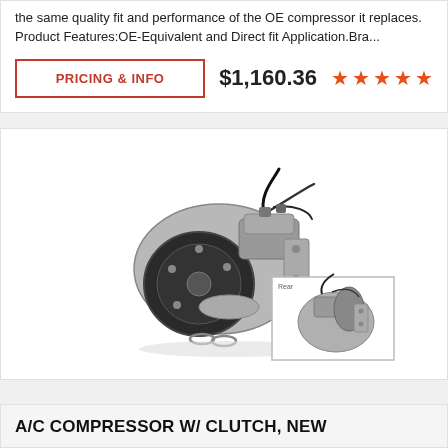the same quality fit and performance of the OE compressor it replaces. Product Features:OE-Equivalent and Direct fit Application.Bra...
PRICING & INFO
$1,160.36
[Figure (photo): A/C compressor with clutch product photo showing main large view and a smaller rear-view thumbnail inset]
A/C COMPRESSOR W/ CLUTCH, NEW